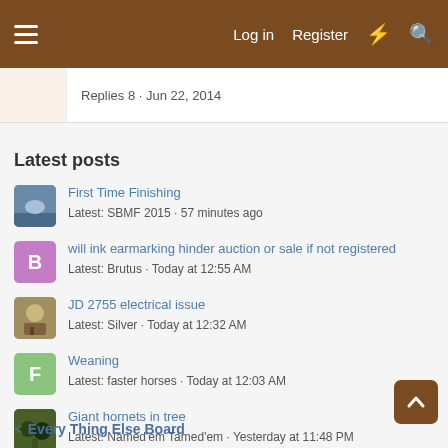Log in  Register
Replies 8 · Jun 22, 2014
Latest posts
First Time Finishing
Latest: SBMF 2015 · 57 minutes ago
will ink earmarking hinder auction or sale if not registered
Latest: Brutus · Today at 12:55 AM
JD 2755 electrical issue
Latest: Silver · Today at 12:32 AM
Weaning
Latest: faster horses · Today at 12:03 AM
Giant hornets in tree
Latest: Named'em Tamed'em · Yesterday at 11:48 PM
< Every Thing Else Board